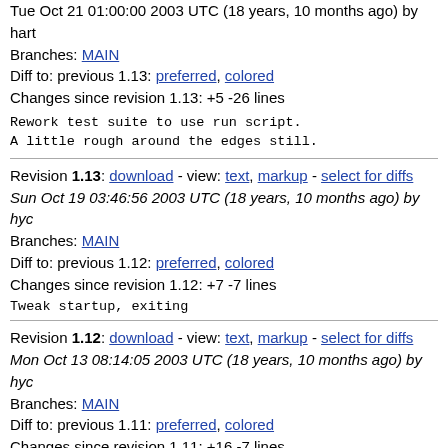Tue Oct 21 01:00:00 2003 UTC (18 years, 10 months ago) by hart
Branches: MAIN
Diff to: previous 1.13: preferred, colored
Changes since revision 1.13: +5 -26 lines
Rework test suite to use run script.
A little rough around the edges still.
Revision 1.13: download - view: text, markup - select for diffs
Sun Oct 19 03:46:56 2003 UTC (18 years, 10 months ago) by hyc
Branches: MAIN
Diff to: previous 1.12: preferred, colored
Changes since revision 1.12: +7 -7 lines
Tweak startup, exiting
Revision 1.12: download - view: text, markup - select for diffs
Mon Oct 13 08:14:05 2003 UTC (18 years, 10 months ago) by hyc
Branches: MAIN
Diff to: previous 1.11: preferred, colored
Changes since revision 1.11: +16 -7 lines
ITS#2747 fix exit conditions
Revision 1.11: download - view: text, markup - select for diffs
Mon Sep 22 22:11:46 2003 UTC (18 years, 11 months ago) by